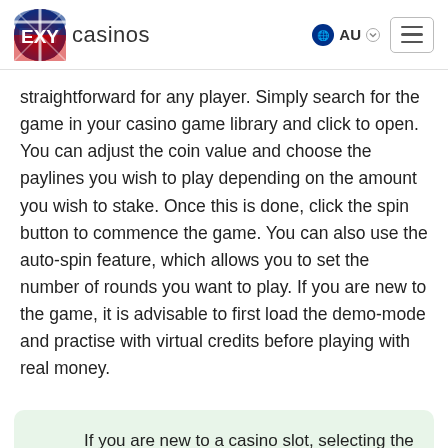EXY casinos | AU
straightforward for any player. Simply search for the game in your casino game library and click to open. You can adjust the coin value and choose the paylines you wish to play depending on the amount you wish to stake. Once this is done, click the spin button to commence the game. You can also use the auto-spin feature, which allows you to set the number of rounds you want to play. If you are new to the game, it is advisable to first load the demo-mode and practise with virtual credits before playing with real money.
If you are new to a casino slot, selecting the minimum coin value and a few paylines is advisable while you learn the winning combinations. Training with free mode